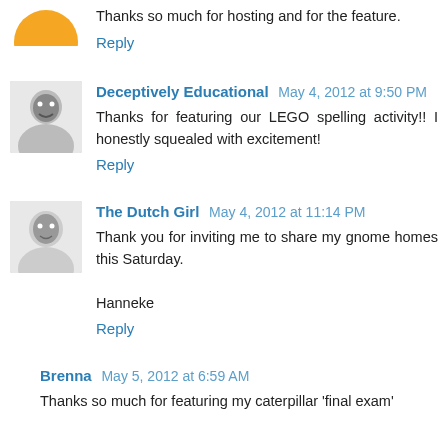Thanks so much for hosting and for the feature.
Reply
Deceptively Educational  May 4, 2012 at 9:50 PM
Thanks for featuring our LEGO spelling activity!! I honestly squealed with excitement!
Reply
The Dutch Girl  May 4, 2012 at 11:14 PM
Thank you for inviting me to share my gnome homes this Saturday.

Hanneke
Reply
Brenna  May 5, 2012 at 6:59 AM
Thanks so much for featuring my caterpillar 'final exam'